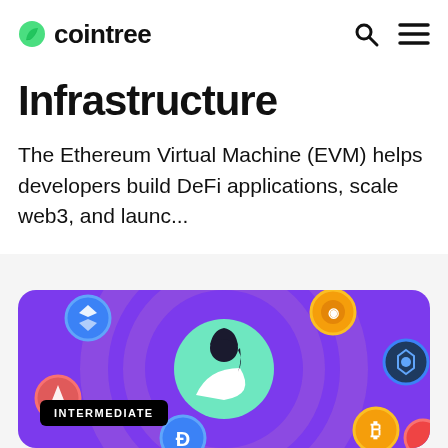cointree
Infrastructure
The Ethereum Virtual Machine (EVM) helps developers build DeFi applications, scale web3, and launc...
[Figure (illustration): Purple background illustration showing a person avatar in a green circle surrounded by various cryptocurrency coin icons (Bitcoin, Dash, Aave, and others) with circular rings. An 'INTERMEDIATE' badge in black appears at the bottom left.]